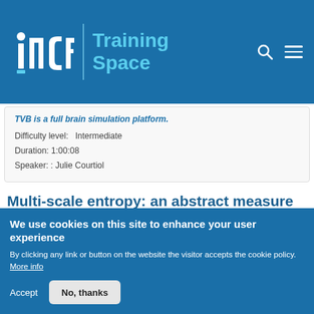INCF Training Space
TVB is a full brain simulation platform.
Difficulty level: Intermediate
Duration: 1:00:08
Speaker: : Julie Courtiol
Multi-scale entropy: an abstract measure with clinical application
Course: The
[Figure (photo): Partial thumbnail image of the course]
We use cookies on this site to enhance your user experience

By clicking any link or button on the website the visitor accepts the cookie policy. More info

Accept   No, thanks